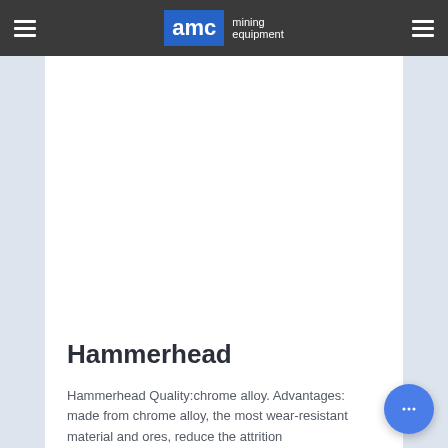AMC mining equipment
[Figure (other): White product image area (blank)]
Hammerhead
Hammerhead Quality:chrome alloy. Advantages: made from chrome alloy, the most wear-resistant material and ores, reduce the attrition...